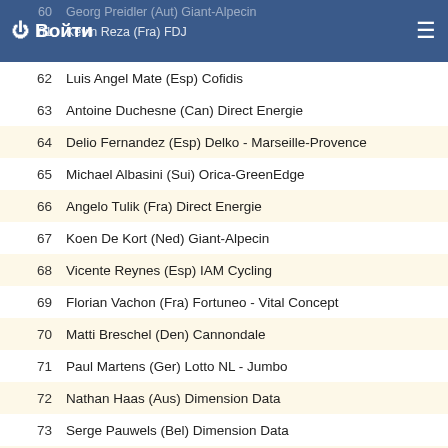Войти
| # | Rider |
| --- | --- |
| 60 | Georg Preidler (Aut) Giant-Alpecin |
| 61 | Kevin Reza (Fra) FDJ |
| 62 | Luis Angel Mate (Esp) Cofidis |
| 63 | Antoine Duchesne (Can) Direct Energie |
| 64 | Delio Fernandez (Esp) Delko - Marseille-Provence |
| 65 | Michael Albasini (Sui) Orica-GreenEdge |
| 66 | Angelo Tulik (Fra) Direct Energie |
| 67 | Koen De Kort (Ned) Giant-Alpecin |
| 68 | Vicente Reynes (Esp) IAM Cycling |
| 69 | Florian Vachon (Fra) Fortuneo - Vital Concept |
| 70 | Matti Breschel (Den) Cannondale |
| 71 | Paul Martens (Ger) Lotto NL - Jumbo |
| 72 | Nathan Haas (Aus) Dimension Data |
| 73 | Serge Pauwels (Bel) Dimension Data |
| 74 | Steven Kruijswijk (Ned) Lotto NL - Jumbo |
| 75 | David De La Cruz (Esp) Etixx - Quick Step |
| 76 | Yury Trofimov (Rus) Tinkoff |
| 77 | Marko Kump (Slo) Lampre-Merida |
| 78 | Pawel Poljanski (Pol) Tinkoff |
| 79 | Luka Pibernik (Slo) Lampre-Merida |
| 80 | Robert Kiserlovski (Cro) Tinkoff |
| 81 | Niccolo Bonifazio (Ita) Trek-Segafredo |